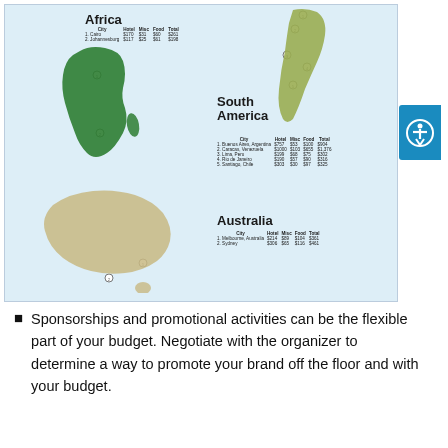[Figure (map): Infographic map showing Africa, South America, and Australia with cities, hotel, misc, food, and total cost tables for each continent.]
Sponsorships and promotional activities can be the flexible part of your budget. Negotiate with the organizer to determine a way to promote your brand off the floor and with your budget.